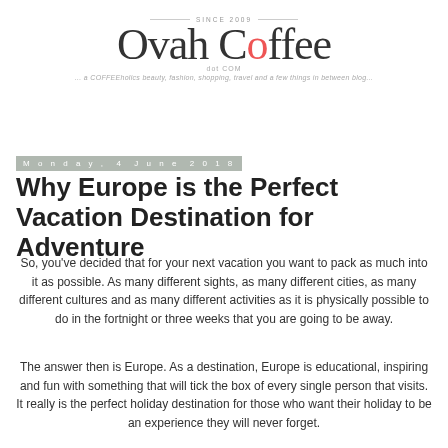OvahCoffee.com — a COFFEEholics beauty, fashion, shopping, travel and a few things in between blog... (SINCE 2009)
Monday, 4 June 2018
Why Europe is the Perfect Vacation Destination for Adventure
So, you've decided that for your next vacation you want to pack as much into it as possible. As many different sights, as many different cities, as many different cultures and as many different activities as it is physically possible to do in the fortnight or three weeks that you are going to be away.
The answer then is Europe. As a destination, Europe is educational, inspiring and fun with something that will tick the box of every single person that visits. It really is the perfect holiday destination for those who want their holiday to be an experience they will never forget.